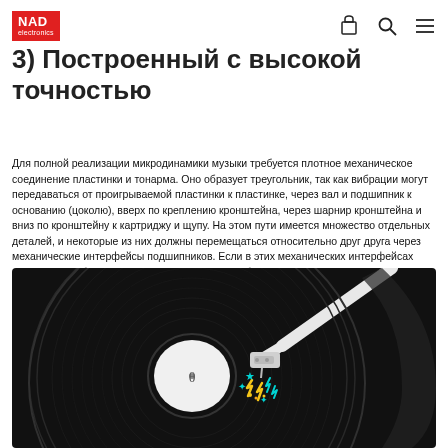NAD
3) Построенный с высокой точностью
Для полной реализации микродинамики музыки требуется плотное механическое соединение пластинки и тонарма. Оно образует треугольник, так как вибрации могут передаваться от проигрываемой пластинки к пластинке, через вал и подшипник к основанию (цоколю), вверх по креплению кронштейна, через шарнир кронштейна и вниз по кронштейну к картриджу и щупу. На этом пути имеется множество отдельных деталей, и некоторые из них должны перемещаться относительно друг друга через механические интерфейсы подшипников. Если в этих механических интерфейсах есть какая–либо игра, то музыкальная энергия будет потеряна.
[Figure (illustration): Illustration of a vinyl record player turntable on a black background, showing a tonearm cartridge touching the record grooves, with colorful lightning bolt sparks (yellow, cyan) and star symbols emanating from the needle contact point.]